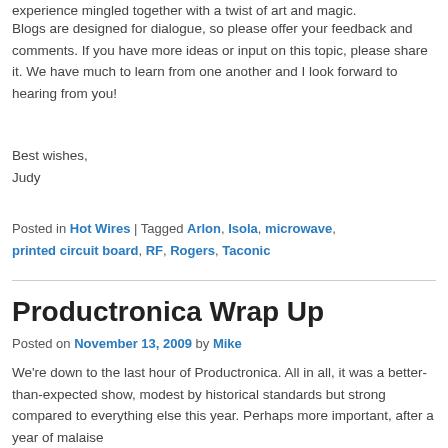experience mingled together with a twist of art and magic.
Blogs are designed for dialogue, so please offer your feedback and comments. If you have more ideas or input on this topic, please share it. We have much to learn from one another and I look forward to hearing from you!
Best wishes,
Judy
Posted in Hot Wires | Tagged Arlon, Isola, microwave, printed circuit board, RF, Rogers, Taconic
Productronica Wrap Up
Posted on November 13, 2009 by Mike
We're down to the last hour of Productronica. All in all, it was a better-than-expected show, modest by historical standards but strong compared to everything else this year. Perhaps more important, after a year of malaise